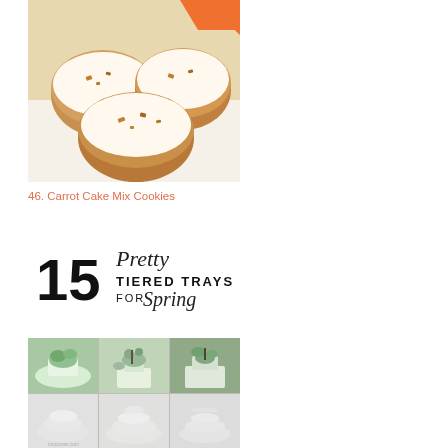[Figure (photo): Frosted carrot cake cookies with chopped nuts on a white surface, with an orange element in the top right corner]
46. Carrot Cake Mix Cookies
[Figure (infographic): Banner graphic reading '15 Pretty Tiered Trays for Spring' with script and bold typography]
[Figure (photo): Collage of 6 photos showing tiered trays decorated for spring with plants and white decor]